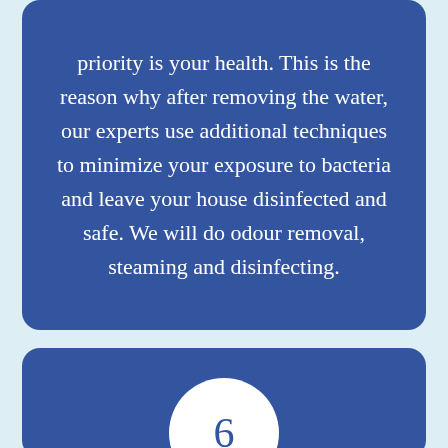priority is your health. This is the reason why after removing the water, our experts use additional techniques to minimize your exposure to bacteria and leave your house disinfected and safe. We will do odour removal, steaming and disinfecting.
[Figure (infographic): A circular badge with the number 6 in dark blue text on a white circle background, set against a dark blue rounded card.]